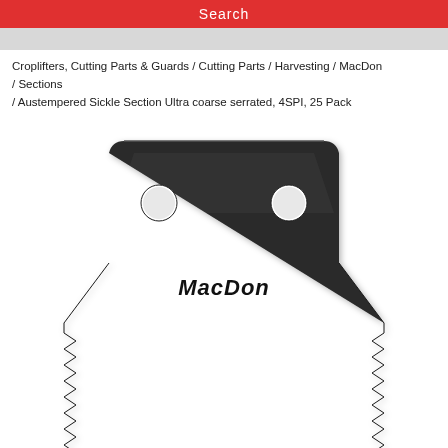Search
Croplifters, Cutting Parts & Guards / Cutting Parts / Harvesting / MacDon / Sections / Austempered Sickle Section Ultra coarse serrated, 4SPI, 25 Pack
[Figure (photo): A dark-colored austempered sickle section blade with coarse serrated edges on both sides, two mounting holes near the top, and the MacDon logo embossed in the center. The blade is trapezoidal/wedge-shaped tapering to a point at the bottom.]